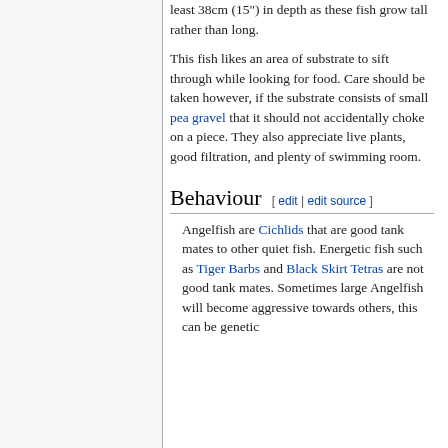least 38cm (15") in depth as these fish grow tall rather than long.
This fish likes an area of substrate to sift through while looking for food. Care should be taken however, if the substrate consists of small pea gravel that it should not accidentally choke on a piece. They also appreciate live plants, good filtration, and plenty of swimming room.
Behaviour [ edit | edit source ]
Angelfish are Cichlids that are good tank mates to other quiet fish. Energetic fish such as Tiger Barbs and Black Skirt Tetras are not good tank mates. Sometimes large Angelfish will become aggressive towards others, this can be genetic